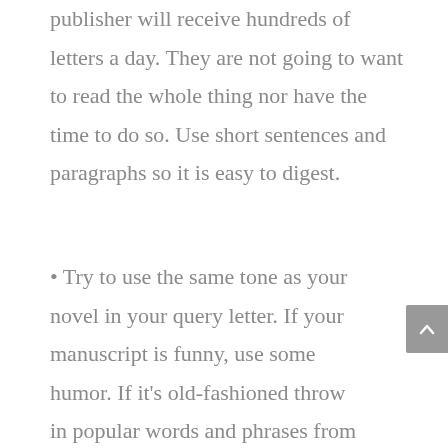publisher will receive hundreds of letters a day. They are not going to want to read the whole thing nor have the time to do so. Use short sentences and paragraphs so it is easy to digest.
Try to use the same tone as your novel in your query letter. If your manuscript is funny, use some humor. If it's old-fashioned throw in popular words and phrases from that time period. Doing this will give the publisher a feel of your novel. Still be careful with being